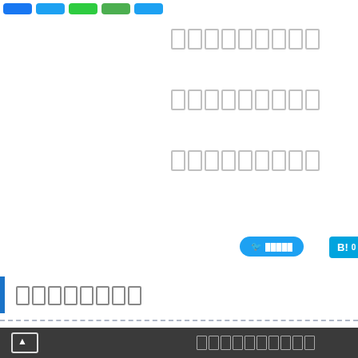[Figure (other): Row of social share buttons in blue and green colors at top of page]
█████████ (redacted text block, line 1)
█████████ (redacted text block, line 2)
█████████ (redacted text block, line 3)
[Figure (other): Twitter share button with bird icon and Japanese text]
[Figure (other): Hatena Bookmark button showing B! 0]
████████ (redacted section header with blue left border)
▲ (up arrow icon) | ██████████ (redacted footer text)